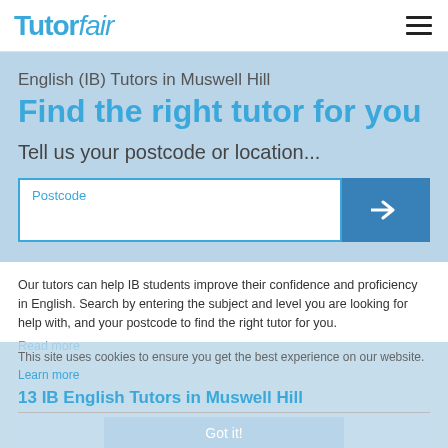[Figure (logo): TutorFair logo in blue with italic 'fair' text]
English (IB) Tutors in Muswell Hill
Find the right tutor for you
Tell us your postcode or location...
Our tutors can help IB students improve their confidence and proficiency in English. Search by entering the subject and level you are looking for help with, and your postcode to find the right tutor for you.
Read more
This site uses cookies to ensure you get the best experience on our website. Learn more
13 IB English Tutors in Muswell Hill
Got it!
Johanna M